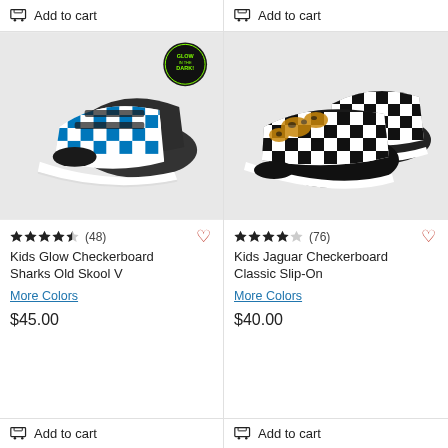Add to cart
[Figure (photo): Kids Glow Checkerboard Sharks Old Skool V shoes with blue checkerboard pattern and velcro straps, Glow in the Dark badge in top right corner]
★★★★½ (48)
Kids Glow Checkerboard Sharks Old Skool V
More Colors
$45.00
Add to cart
Add to cart
[Figure (photo): Kids Jaguar Checkerboard Classic Slip-On shoes with black and white checkerboard pattern and leopard print accent]
★★★★☆ (76)
Kids Jaguar Checkerboard Classic Slip-On
More Colors
$40.00
Add to cart